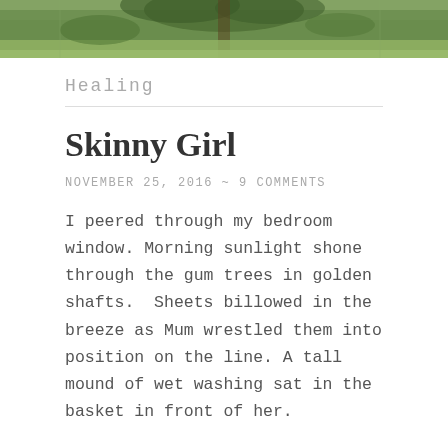[Figure (photo): Outdoor photo showing green grass and trees with sunlight, cropped at top of page]
Healing
Skinny Girl
NOVEMBER 25, 2016  ~  9 COMMENTS
I peered through my bedroom window. Morning sunlight shone through the gum trees in golden shafts.  Sheets billowed in the breeze as Mum wrestled them into position on the line. A tall mound of wet washing sat in the basket in front of her.
She'd be out there for a while.